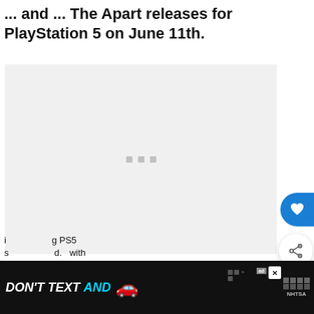... and ... The Apart releases for PlayStation 5 on June 11th.
[Figure (screenshot): Large light gray media placeholder box with three small gray square dots centered in the middle, representing a loading or embedded video/image area.]
[Figure (screenshot): Heart (favorite) button - circular blue button on the right edge of the page]
[Figure (screenshot): Share button - circular white button with share icon on the right edge of the page]
[Figure (screenshot): What's Next panel showing Forza Horizon 5: Premium... with thumbnail]
i ... g PS5 s ... d. with
[Figure (screenshot): DON'T TEXT AND [car emoji] advertisement banner with NHTSA logo and ad badge, black background with white and cyan text.]